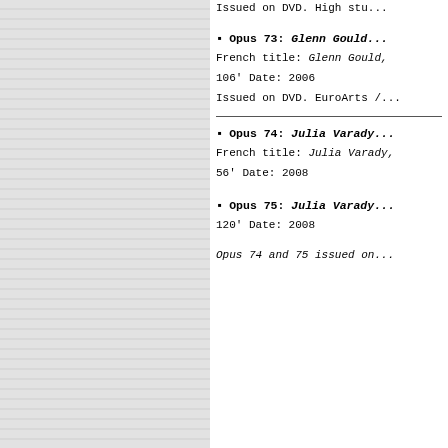Issued on DVD. High stu...
Opus 73: Glenn Gould...
French title: Glenn Gould,...
106' Date: 2006
Issued on DVD. EuroArts /...
Opus 74: Julia Varady...
French title: Julia Varady,...
56' Date: 2008
Opus 75: Julia Varady...
120' Date: 2008
Opus 74 and 75 issued on...